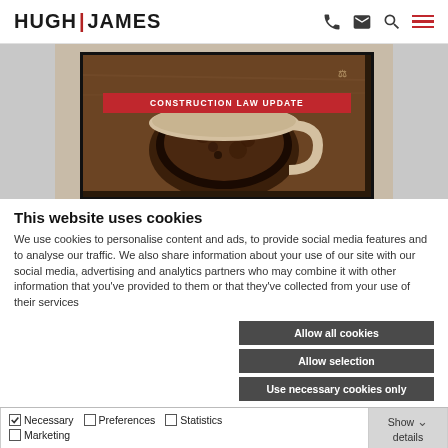HUGH | JAMES
[Figure (screenshot): Hugh James law firm website screenshot showing a 'Construction Law Update' banner over a coffee cup background image on a screen/tablet]
This website uses cookies
We use cookies to personalise content and ads, to provide social media features and to analyse our traffic. We also share information about your use of our site with our social media, advertising and analytics partners who may combine it with other information that you've provided to them or that they've collected from your use of their services
Allow all cookies
Allow selection
Use necessary cookies only
Necessary  Preferences  Statistics  Marketing  Show details